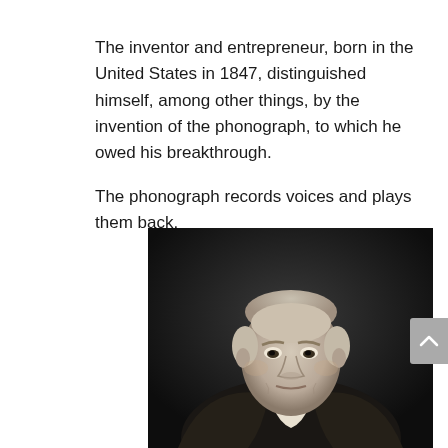The inventor and entrepreneur, born in the United States in 1847, distinguished himself, among other things, by the invention of the phonograph, to which he owed his breakthrough.

The phonograph records voices and plays them back.
[Figure (photo): Black and white portrait photograph of an elderly man (Thomas Edison) wearing a suit and bow tie, seated, looking directly at the camera with a serious expression.]